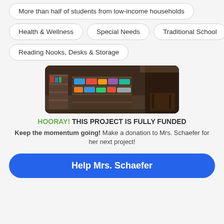More than half of students from low-income households
Health & Wellness
Special Needs
Traditional School
Reading Nooks, Desks & Storage
[Figure (photo): Classroom photo showing shelves with books and storage bins]
HOORAY! THIS PROJECT IS FULLY FUNDED
Keep the momentum going! Make a donation to Mrs. Schaefer for her next project!
Help Mrs. Schaefer